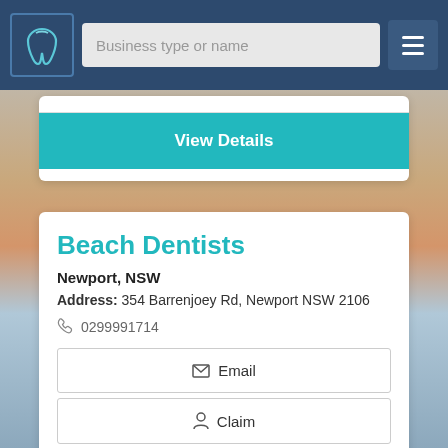[Figure (screenshot): Website navigation bar with tooth logo, search field 'Business type or name', and hamburger menu on dark blue background]
[Figure (screenshot): View Details teal button on white card]
Beach Dentists
Newport, NSW
Address: 354 Barrenjoey Rd, Newport NSW 2106
0299991714
Email
Claim
Call Now
View Details